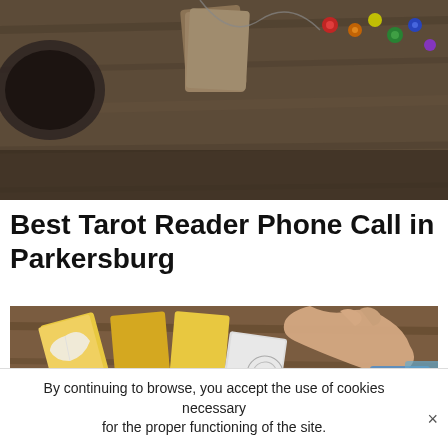[Figure (photo): Tarot cards, crystals, pendants and colorful gems arranged on a wooden surface, viewed from above]
Best Tarot Reader Phone Call in Parkersburg
[Figure (photo): A hand picking up a tarot card from a spread of colorful tarot cards on a wooden table, with a feather and crystals nearby]
By continuing to browse, you accept the use of cookies necessary for the proper functioning of the site.